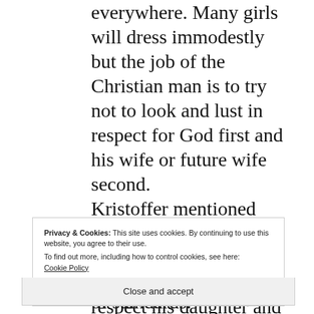everywhere. Many girls will dress immodestly but the job of the Christian man is to try not to look and lust in respect for God first and his wife or future wife second.
Kristoffer mentioned teaching his Sun's to respect women the way he wants other men to respect his daughter and I commend him for that attitude. Many
Privacy & Cookies: This site uses cookies. By continuing to use this website, you agree to their use.
To find out more, including how to control cookies, see here:
Cookie Policy
Close and accept
treated by a different set of standards.